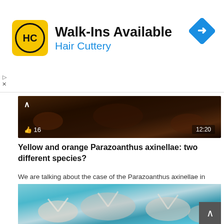[Figure (screenshot): Hair Cuttery advertisement banner with yellow/black logo, 'Walk-Ins Available' headline, 'Hair Cuttery' subtitle in blue, and a blue directional arrow icon]
[Figure (screenshot): Underwater coral video thumbnail showing dark reddish-brown coral scene with a thumbs-up icon showing 16 likes and duration 12:20]
Yellow and orange Parazoanthus axinellae: two different species?
We are talking about the case of the Parazoanthus axinellae in Calafuria's reef near Livorno, the very common Yellow cluster anemone omnipresent in the coral bottoms of the whole Mediterranean Sea, all of us divers appreciate its presence and the yellow color ...
netartstudio  /  AUGUST 14, 2022
👁 25  /  💬 0
[Figure (photo): Underwater photo of white/pale coral or marine organisms on turquoise blue background]